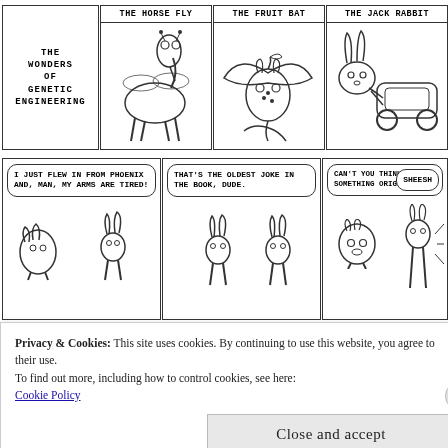[Figure (illustration): Comic strip titled 'The Wonders of Genetic Engineering' with three panels showing hybrid animals: The Horse Fly (horse-fly hybrid), The Fruit Bat (bat-fruit hybrid), The Jack Rabbit (rabbit-car hybrid)]
[Figure (illustration): Comic strip middle row with characters discussing jokes. Speech bubbles: 'I JUST FLEW IN FROM PHOENIX AND, MAN, MY ARMS ARE TIRED!', 'THAT'S THE OLDEST JOKE IN THE BOOK, DUDE.', 'CAN'T YOU THINK UP SOMETHING ORIGINAL?', 'SHEESH']
[Figure (illustration): Comic strip bottom row partially visible: WRITER'S BLOCK, BEEP BEEP BEEP BEEP BEEP, ..RING.. ..RING.., DIAL-A-MUSE. HOW MAY I HELP YOU?]
Privacy & Cookies: This site uses cookies. By continuing to use this website, you agree to their use.
To find out more, including how to control cookies, see here:
Cookie Policy
Close and accept